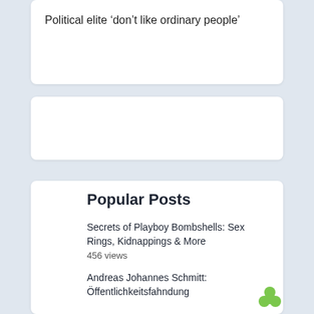Political elite ‘don’t like ordinary people’
Popular Posts
Secrets of Playboy Bombshells: Sex Rings, Kidnappings & More
456 views
Andreas Johannes Schmitt: Öffentlichkeitsfahndung